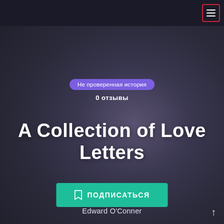≡
Не проверенная история
0 отзывы
A Collection of Love Letters
ПОДПИСАТЬСЯ
Edward O'Conner